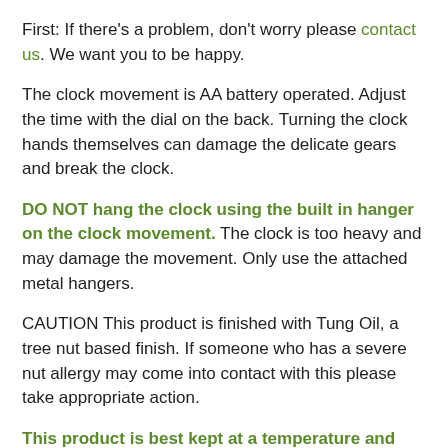First: If there’s a problem, don’t worry please contact us. We want you to be happy.
The clock movement is AA battery operated. Adjust the time with the dial on the back. Turning the clock hands themselves can damage the delicate gears and break the clock.
DO NOT hang the clock using the built in hanger on the clock movement. The clock is too heavy and may damage the movement. Only use the attached metal hangers.
CAUTION This product is finished with Tung Oil, a tree nut based finish. If someone who has a severe nut allergy may come into contact with this please take appropriate action.
This product is best kept at a temperature and humidity comfortable to people. Violent swings in temperature and especially humidity can cause the wood